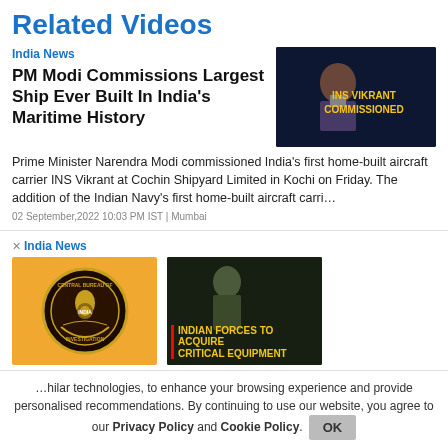Related Videos
India News
PM Modi Commissions Largest Ship Ever Built In India's Maritime History
[Figure (photo): Thumbnail showing PM Modi with text INS VIKRANT COMMISSIONED in yellow on dark navy background]
Prime Minister Narendra Modi commissioned India's first home-built aircraft carrier INS Vikrant at Cochin Shipyard Limited in Kochi on Friday. The addition of the Indian Navy's first home-built aircraft carri…
02 September,2022 10:03 PM IST | Mumbai
India News
[Figure (photo): CBI emblem badge on orange background]
[Figure (photo): Thumbnail showing soldier in full gear with text INDIAN FORCES TO ACQUIRE CRITICAL EQUIPMENT in yellow on dark background]
…hilar technologies, to enhance your browsing experience and provide personalised recommendations. By continuing to use our website, you agree to our Privacy Policy and Cookie Policy.